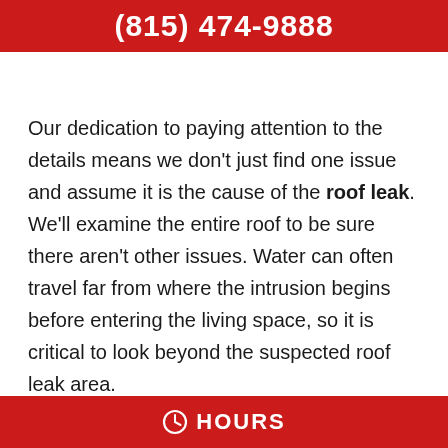(815) 474-9888
Our dedication to paying attention to the details means we don't just find one issue and assume it is the cause of the roof leak. We'll examine the entire roof to be sure there aren't other issues. Water can often travel far from where the intrusion begins before entering the living space, so it is critical to look beyond the suspected roof leak area.
HOURS